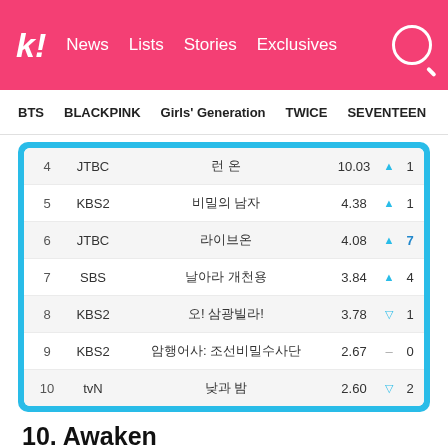k! News Lists Stories Exclusives
BTS BLACKPINK Girls' Generation TWICE SEVENTEEN
| # | Channel | Title | Rating | ▲▽ | Change |
| --- | --- | --- | --- | --- | --- |
| 4 | JTBC | 런 온 | 10.03 | ▲ | 1 |
| 5 | KBS2 | 비밀의 남자 | 4.38 | ▲ | 1 |
| 6 | JTBC | 라이브온 | 4.08 | ▲ | 7 |
| 7 | SBS | 날아라 개천용 | 3.84 | ▲ | 4 |
| 8 | KBS2 | 오! 삼광빌라! | 3.78 | ▽ | 1 |
| 9 | KBS2 | 암행어사: 조선비밀수사단 | 2.67 | – | 0 |
| 10 | tvN | 낮과 밤 | 2.60 | ▽ | 2 |
10. Awaken
[Figure (photo): Promotional image for Korean drama 'Awaken' on tvN, showing a blue-toned misty scene with Korean text '눈부시게 어두운 진실' and a silhouetted figure with a moon]